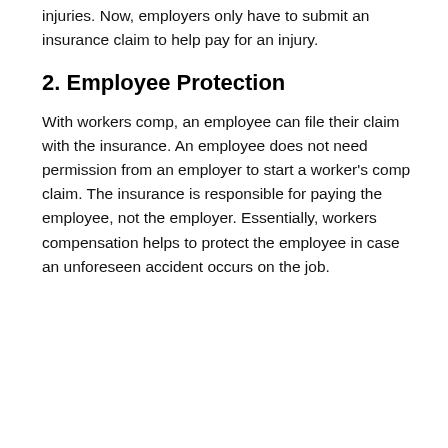injuries. Now, employers only have to submit an insurance claim to help pay for an injury.
2. Employee Protection
With workers comp, an employee can file their claim with the insurance. An employee does not need permission from an employer to start a worker's comp claim. The insurance is responsible for paying the employee, not the employer. Essentially, workers compensation helps to protect the employee in case an unforeseen accident occurs on the job.